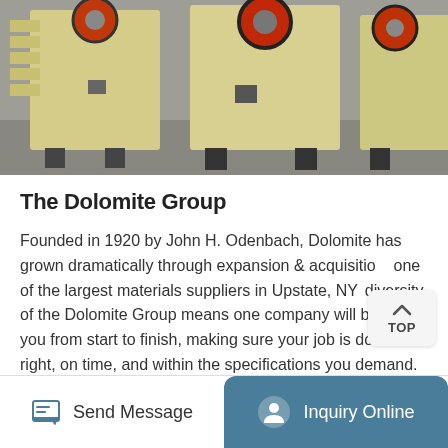[Figure (photo): Industrial jaw crusher machines in yellow/cream color, photographed in a warehouse or industrial facility. Multiple large crushing machines are visible.]
The Dolomite Group
Founded in 1920 by John H. Odenbach, Dolomite has grown dramatically through expansion & acquisition one of the largest materials suppliers in Upstate, NY diversity of the Dolomite Group means one company will be with you from start to finish, making sure your job is done right, on time, and within the specifications you demand. There ...
More Details
Send Message   Inquiry Online